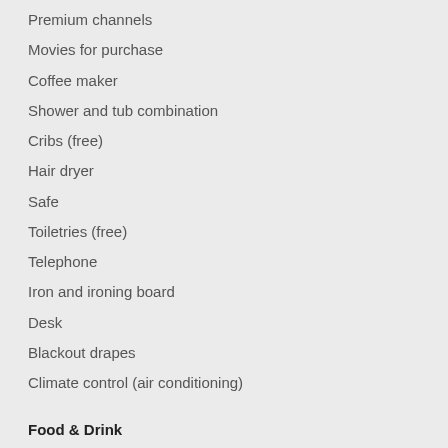Premium channels
Movies for purchase
Coffee maker
Shower and tub combination
Cribs (free)
Hair dryer
Safe
Toiletries (free)
Telephone
Iron and ironing board
Desk
Blackout drapes
Climate control (air conditioning)
Food & Drink
For a fee, guests can enjoy to-go breakfast daily from 6:00 AM to 9:00 AM.
Courtyard by Marriott Detroit Pontiac/Auburn Hills has a restaurant serving breakfast, lunch, and dinner.